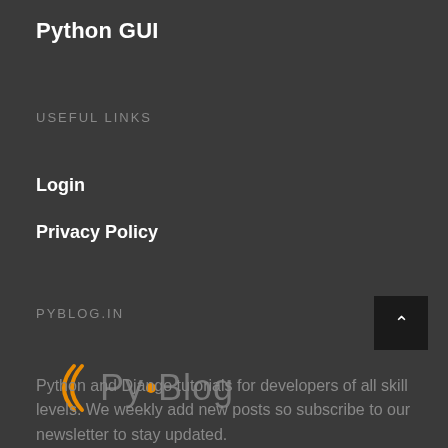Python GUI
USEFUL LINKS
Login
Privacy Policy
PYBLOG.IN
[Figure (logo): PyBlog logo with orange parentheses and dot between Py and Blog text]
Python and Django tutorials for developers of all skill levels. We weekly add new posts so subscribe to our newsletter to stay updated.